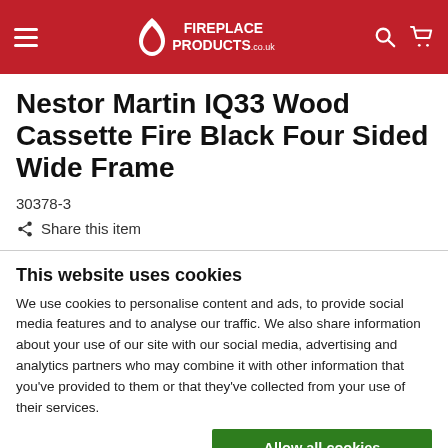Fireplace Products .co.uk
Nestor Martin IQ33 Wood Cassette Fire Black Four Sided Wide Frame
30378-3
Share this item
This website uses cookies
We use cookies to personalise content and ads, to provide social media features and to analyse our traffic. We also share information about your use of our site with our social media, advertising and analytics partners who may combine it with other information that you've provided to them or that they've collected from your use of their services.
Allow all cookies
Allow selection
Use necessary cookies only